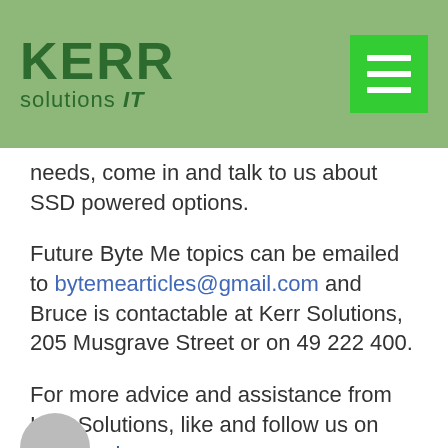KERR solutions IT
needs, come in and talk to us about SSD powered options.
Future Byte Me topics can be emailed to bytemearticles@gmail.com and Bruce is contactable at Kerr Solutions, 205 Musgrave Street or on 49 222 400.
For more advice and assistance from Kerr Solutions, like and follow us on Facebook
https://www.facebook.com/kerrsolutions/